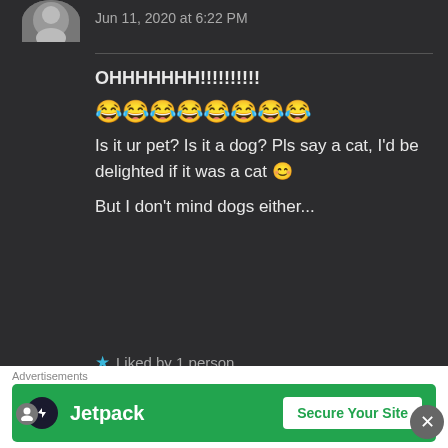Jun 11, 2020 at 6:22 PM
OHHHHHHH!!!!!!!!!!  😂😂😂😂😂😂😂😂  Is it ur pet? Is it a dog? Pls say a cat, I'd be delighted if it was a cat 😊 But I don't mind dogs either...
★ Liked by 1 person
THE BOLD GIRL says:
Jun 11, 2020 at 6:26 PM
Advertisements
[Figure (screenshot): Jetpack advertisement banner with green background showing Jetpack logo and 'Secure Your Site' button]